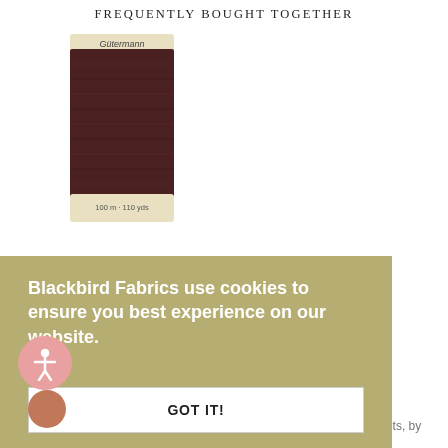FREQUENTLY BOUGHT TOGETHER
[Figure (photo): Gütermann thread spool, dark brown/mahogany color, 100m - 110 yds label]
Gütermann Sew-All Thread - #575 Sa...
Blackbird Fabrics use cookies to ensure you best experience on our website.
More
GOT IT!
About us
We stock high-quality garment fabrics and supplies curated for sewists, by sewists. Online only. Shipping worldwide from our